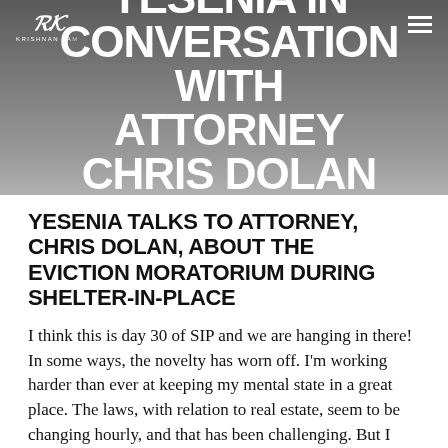[Figure (screenshot): Hero banner with gray gradient background featuring the Krishnan Tamm logo (RK monogram) top-left, a hamburger menu icon top-right, and large white bold uppercase text reading YESENIA IN CONVERSATION WITH ATTORNEY CHRIS DOLAN ABOUT]
YESENIA TALKS TO ATTORNEY, CHRIS DOLAN, ABOUT THE EVICTION MORATORIUM DURING SHELTER-IN-PLACE
I think this is day 30 of SIP and we are hanging in there! In some ways, the novelty has worn off. I'm working harder than ever at keeping my mental state in a great place. The laws, with relation to real estate, seem to be changing hourly, and that has been challenging. But I